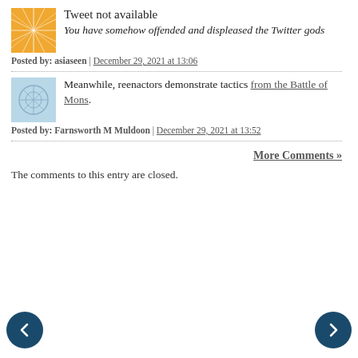[Figure (illustration): Orange mosaic/network pattern avatar thumbnail]
Tweet not available
You have somehow offended and displeased the Twitter gods
Posted by: asiaseen | December 29, 2021 at 13:06
[Figure (illustration): Light blue abstract circular pattern avatar thumbnail]
Meanwhile, reenactors demonstrate tactics from the Battle of Mons.
Posted by: Farnsworth M Muldoon | December 29, 2021 at 13:52
More Comments »
The comments to this entry are closed.